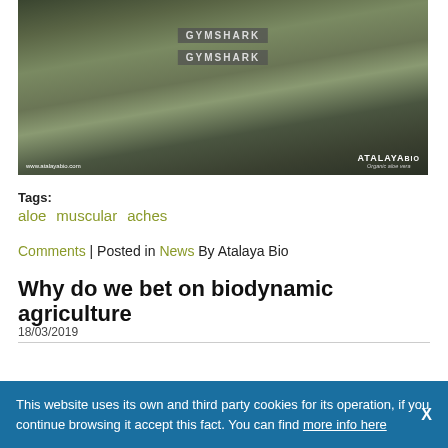[Figure (photo): Person wearing Gymshark athletic wear (sports bra and leggings) with Atalaya Bio logo watermark in bottom right corner and website URL www.atalayabio.com in bottom left]
Tags: aloe  muscular  aches
Comments | Posted in News By Atalaya Bio
Why do we bet on biodynamic agriculture
18/03/2019
This website uses its own and third party cookies for its operation, if you continue browsing it accept this fact. You can find more info here